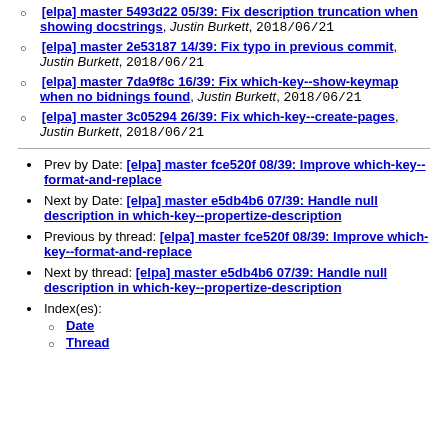[elpa] master 5493d22 05/39: Fix description truncation when showing docstrings, Justin Burkett, 2018/06/21
[elpa] master 2e53187 14/39: Fix typo in previous commit, Justin Burkett, 2018/06/21
[elpa] master 7da9f8c 16/39: Fix which-key--show-keymap when no bidnings found, Justin Burkett, 2018/06/21
[elpa] master 3c05294 26/39: Fix which-key--create-pages, Justin Burkett, 2018/06/21
Prev by Date: [elpa] master fce520f 08/39: Improve which-key--format-and-replace
Next by Date: [elpa] master e5db4b6 07/39: Handle null description in which-key--propertize-description
Previous by thread: [elpa] master fce520f 08/39: Improve which-key--format-and-replace
Next by thread: [elpa] master e5db4b6 07/39: Handle null description in which-key--propertize-description
Index(es):
Date
Thread